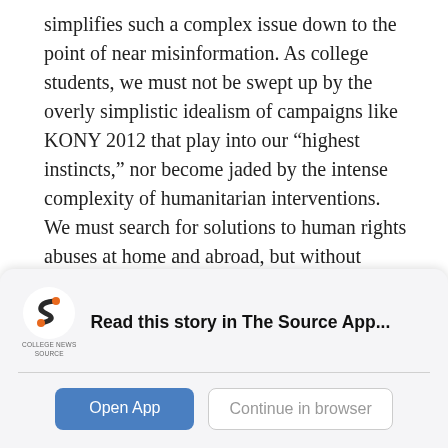simplifies such a complex issue down to the point of near misinformation. As college students, we must not be swept up by the overly simplistic idealism of campaigns like KONY 2012 that play into our "highest instincts," nor become jaded by the intense complexity of humanitarian interventions. We must search for solutions to human rights abuses at home and abroad, but without understanding many of the perverse consequences of humanitarian intervention, our good intentions could well bring more pain and suffering to a region that does not need any more meddling from Western nations.
[Figure (logo): College News Source logo - stylized S in orange/dark with text COLLEGE NEWS SOURCE below]
Read this story in The Source App...
Open App
Continue in browser